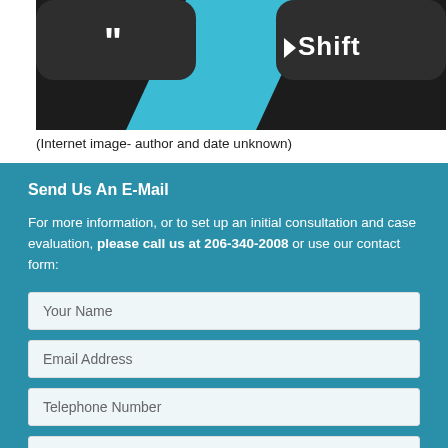[Figure (photo): Close-up of keyboard keys including a blue/teal key and a Shift key on a dark keyboard]
(Internet image- author and date unknown)
Send Us An E-Mail
For more information, or to set up an initial consultation and case evaluation, please call us at 206-340-2008 or use our contact form:
Your Name
Email Address
Telephone Number
Your Message